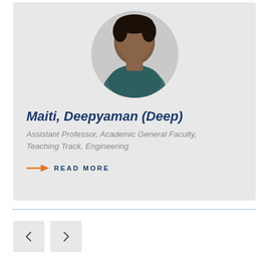[Figure (photo): Circular headshot photo of Maiti, Deepyaman (Deep) on a light gray background]
Maiti, Deepyaman (Deep)
Assistant Professor, Academic General Faculty, Teaching Track, Engineering
READ MORE
[Figure (other): Previous and next navigation buttons (left arrow and right arrow)]